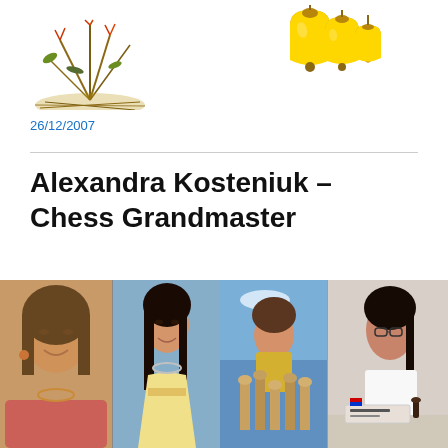[Figure (photo): Top portion of a decorative image showing dried herbs/plants on the left and golden/brass bells or ornaments on the right, on a white background]
26/12/2007
[Figure (photo): Collage of four photos of Alexandra Kosteniuk: close-up portrait in red top, full-length in cream dress, outdoor photo with large chess pieces, and seated at chess table with nameplate]